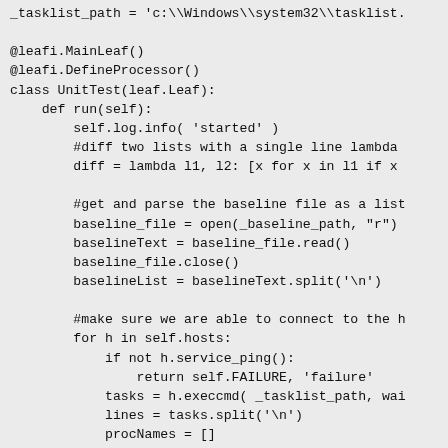[Figure (screenshot): Python source code snippet showing a unit test class with decorators @leafi.MainLeaf() and @leafi.DefineProcessor(), class UnitTest(leaf.Leaf), and methods including run(self). The code reads a baseline file, splits it into a list, connects to hosts, runs tasklist commands, and compares process names.]